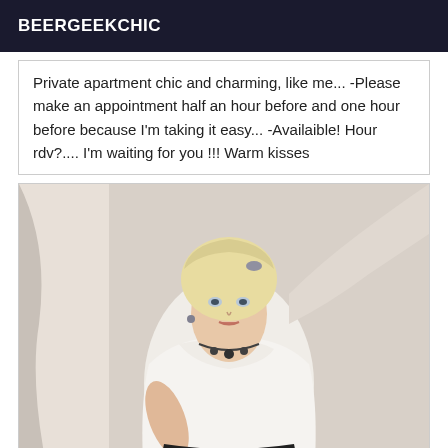BEERGEEKCHIC
Private apartment chic and charming, like me... -Please make an appointment half an hour before and one hour before because I'm taking it easy... -Availaible! Hour rdv?.... I'm waiting for you !!! Warm kisses
[Figure (photo): Woman with short blonde hair wearing white dress and jewelry, posing in what appears to be an indoor setting]